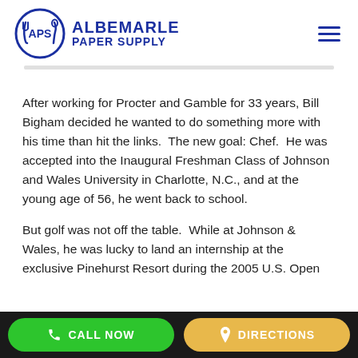[Figure (logo): Albemarle Paper Supply logo with APS circular icon and blue text]
After working for Procter and Gamble for 33 years, Bill Bigham decided he wanted to do something more with his time than hit the links.  The new goal: Chef.  He was accepted into the Inaugural Freshman Class of Johnson and Wales University in Charlotte, N.C., and at the young age of 56, he went back to school.
But golf was not off the table.  While at Johnson & Wales, he was lucky to land an internship at the exclusive Pinehurst Resort during the 2005 U.S. Open
CALL NOW   DIRECTIONS